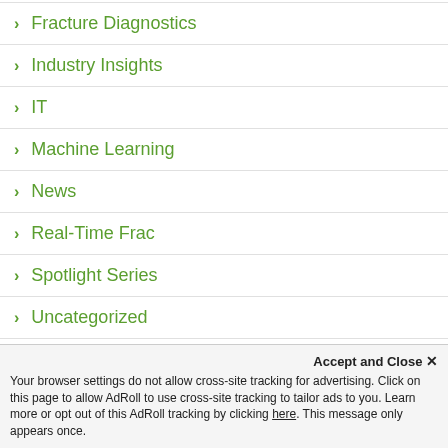Fracture Diagnostics
Industry Insights
IT
Machine Learning
News
Real-Time Frac
Spotlight Series
Uncategorized
Accept and Close ✕
Your browser settings do not allow cross-site tracking for advertising. Click on this page to allow AdRoll to use cross-site tracking to tailor ads to you. Learn more or opt out of this AdRoll tracking by clicking here. This message only appears once.